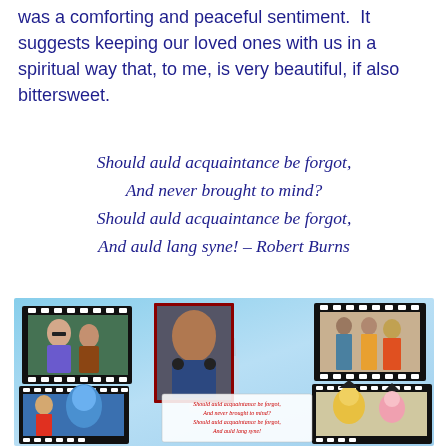was a comforting and peaceful sentiment.  It suggests keeping our loved ones with us in a spiritual way that, to me, is very beautiful, if also bittersweet.
Should auld acquaintance be forgot,
And never brought to mind?
Should auld acquaintance be forgot,
And auld lang syne! – Robert Burns
[Figure (photo): A photo collage on a blue sky background with film strip borders. Contains multiple photographs of people including couples, a man in a Mickey Mouse shirt, a group photo with costumed characters, a child with a blue character, and cartoon characters (Winnie the Pooh and Piglet dressed as pirates). A center overlay shows the poem text: 'Should auld acquaintance be forgot, And never brought to mind? Should auld acquaintance be forgot, And auld lang syne!']